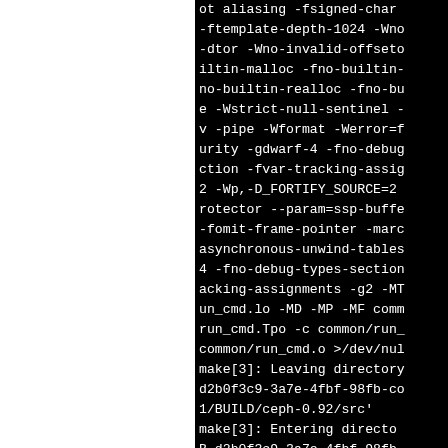ot aliasing -fsigned-char -ftemplate-depth-1024 -Wno-dtor -Wno-invalid-offseto iltin-malloc -fno-builtin- no-builtin-realloc -fno-bu e -Wstrict-null-sentinel - v -pipe -Wformat -Werror=f urity -gdwarf-4 -fno-debug ction -fvar-tracking-assig 2 -Wp,-D_FORTIFY_SOURCE=2 rotector --param=ssp-buffe -fomit-frame-pointer -marc asynchronous-unwind-tables 4 -fno-debug-types-section acking-assignments -g2 -MT un_cmd.lo -MD -MP -MF comm run_cmd.Tpo -c common/run_ common/run_cmd.o >/dev/nul make[3]: Leaving directory d2b0f3c9-3a7e-4fbf-98fb-co 1/BUILD/ceph-0.92/src' make[3]: Entering directo B.d2b0f3c9-3a7e-4fbf-98fb- 481/BUILD/ceph-0.92/src'